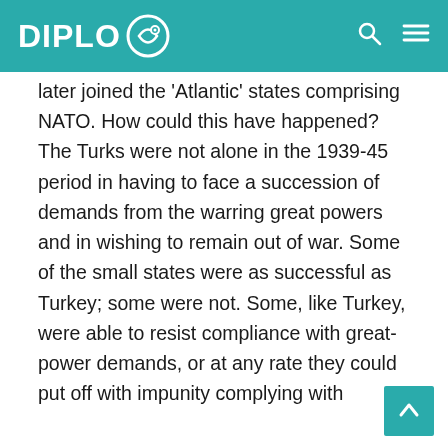DIPLO
later joined the 'Atlantic' states comprising NATO. How could this have happened? The Turks were not alone in the 1939-45 period in having to face a succession of demands from the warring great powers and in wishing to remain out of war. Some of the small states were as successful as Turkey; some were not. Some, like Turkey, were able to resist compliance with great-power demands, or at any rate they could put off with impunity complying with